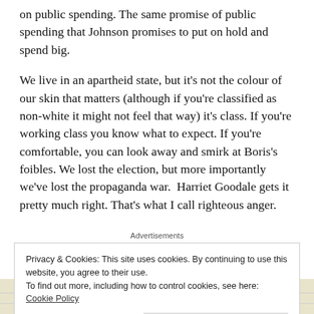on public spending. The same promise of public spending that Johnson promises to put on hold and spend big.
We live in an apartheid state, but it's not the colour of our skin that matters (although if you're classified as non-white it might not feel that way) it's class. If you're working class you know what to expect. If you're comfortable, you can look away and smirk at Boris's foibles. We lost the election, but more importantly we've lost the propaganda war.  Harriet Goodale gets it pretty much right. That's what I call righteous anger.
Advertisements
Privacy & Cookies: This site uses cookies. By continuing to use this website, you agree to their use. To find out more, including how to control cookies, see here: Cookie Policy
[Figure (map): Partial map view at bottom of page with a blue letter A marker]